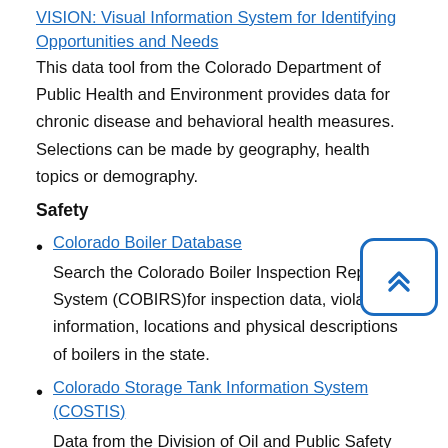VISION: Visual Information System for Identifying Opportunities and Needs
This data tool from the Colorado Department of Public Health and Environment provides data for chronic disease and behavioral health measures. Selections can be made by geography, health topics or demography.
Safety
Colorado Boiler Database
Search the Colorado Boiler Inspection Reporting System (COBIRS)for inspection data, violation information, locations and physical descriptions of boilers in the state.
Colorado Storage Tank Information System (COSTIS)
Data from the Division of Oil and Public Safety on